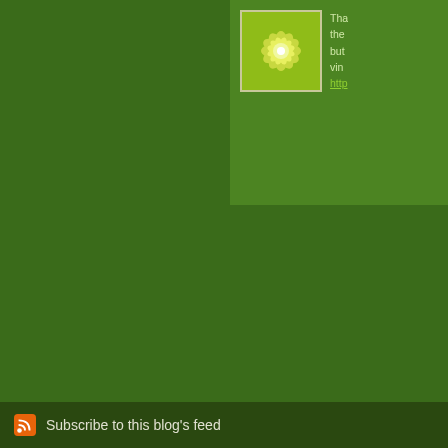[Figure (illustration): Avatar/logo image: a decorative square icon with a white starburst/flower pattern on a yellow-green background, bordered in light beige]
Tha... the... but... vin... http...
The comments to t...
P...
Good, Gooder, Go...
yesterday, and Alex... handle off the oven...
Subscribe to this blog's feed